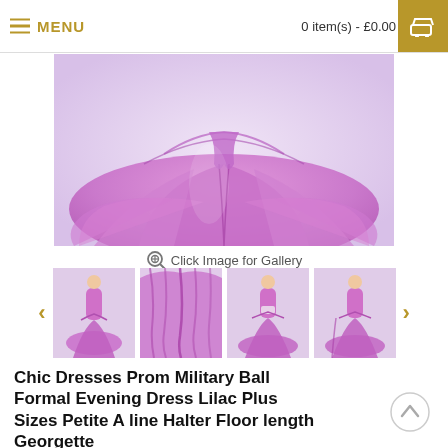MENU   0 item(s) - £0.00
[Figure (photo): Main product photo showing a flowing lilac/purple formal gown skirt fanning outward, photographed from waist down against light background]
Click Image for Gallery
[Figure (photo): Thumbnail 1: Full-length photo of woman in lilac halter formal gown]
[Figure (photo): Thumbnail 2: Close-up detail of lilac gown fabric draping]
[Figure (photo): Thumbnail 3: Full-length photo of woman in lilac halter gown, front view]
[Figure (photo): Thumbnail 4: Full-length photo of woman in lilac halter gown, side/back view]
Chic Dresses Prom Military Ball Formal Evening Dress Lilac Plus Sizes Petite A line Halter Floor length Georgette